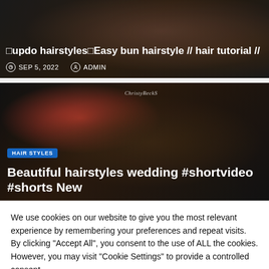[Figure (screenshot): Video thumbnail for updo hairstyles easy bun hairstyle hair tutorial, dark background with hair styling imagery]
□updo hairstyles□Easy bun hairstyle // hair tutorial //
SEP 5, 2022   ADMIN
[Figure (screenshot): Video thumbnail for beautiful hairstyles wedding #shortvideo #shorts New, dark background with ChristyBecks branding and hair styling imagery]
HAIR STYLES
Beautiful hairstyles wedding #shortvideo #shorts New
We use cookies on our website to give you the most relevant experience by remembering your preferences and repeat visits. By clicking "Accept All", you consent to the use of ALL the cookies. However, you may visit "Cookie Settings" to provide a controlled consent.